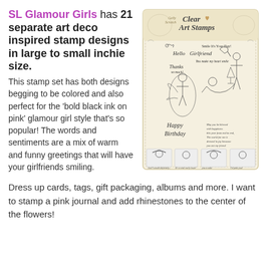SL Glamour Girls has 21 separate art deco inspired stamp designs in large to small inchie size.
This stamp set has both designs begging to be colored and also perfect for the 'bold black ink on pink' glamour girl style that's so popular! The words and sentiments are a mix of warm and funny greetings that will have your girlfriends smiling.
[Figure (illustration): Product packaging image for SL Glamour Girls Clear Art Stamps by Gelly Scratch. Shows a stamp sheet with art deco style illustrations of glamour girls in 1920s fashion, text sentiments including 'Hello Girlfriend', 'Smile It's Your Day!', 'Thanks so much', 'You make my heart smile', 'Happy Birthday', and portrait vignettes at the bottom.]
Dress up cards, tags, gift packaging, albums and more. I want to stamp a pink journal and add rhinestones to the center of the flowers!